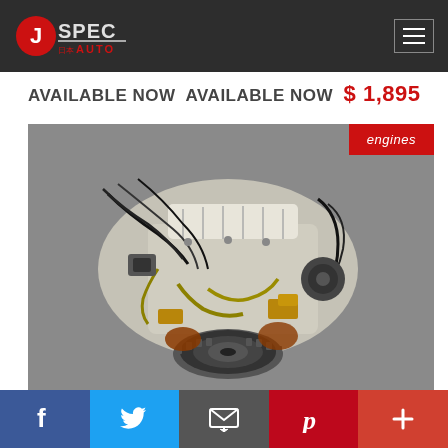[Figure (logo): JSpec Auto logo - red circle with white J, silver SPEC text, red AUTO text, Japanese characters below]
AVAILABLE NOW  AVAILABLE NOW  $ 1,895
[Figure (photo): JDM engine (used) photographed on a grey surface, showing top-down view with visible wiring harness, alternator, intake manifold, and flywheel at the bottom. Red 'engines' badge in top right corner.]
f  (Twitter bird)  (Email envelope)  p  +